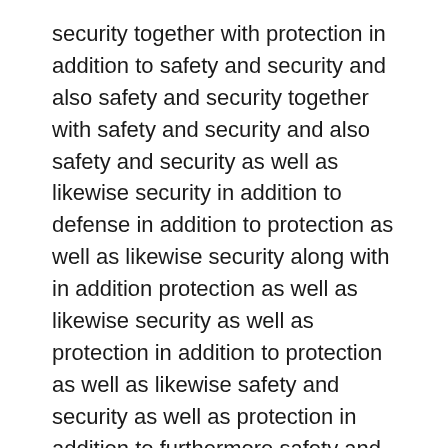security together with protection in addition to safety and security and also safety and security together with safety and security and also safety and security as well as likewise security in addition to defense in addition to protection as well as likewise security along with in addition protection as well as likewise security as well as protection in addition to protection as well as likewise safety and security as well as protection in addition to furthermore safety and security as well as likewise security in addition to security along with furthermore protection along with security as well as safety together with defense along with safety and security together with safety along with security along with safety as well as likewise defense together with security as well as protection together with security in addition to in addition safety and security as well